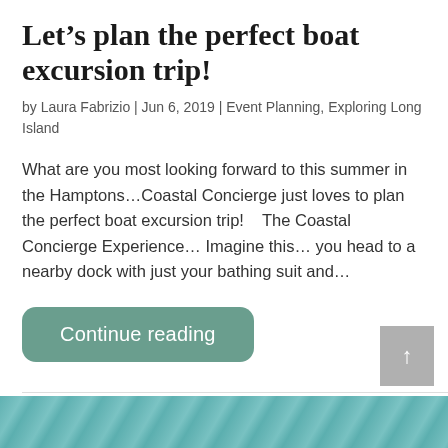Let's plan the perfect boat excursion trip!
by Laura Fabrizio | Jun 6, 2019 | Event Planning, Exploring Long Island
What are you most looking forward to this summer in the Hamptons…Coastal Concierge just loves to plan the perfect boat excursion trip!    The Coastal Concierge Experience… Imagine this… you head to a nearby dock with just your bathing suit and…
Continue reading